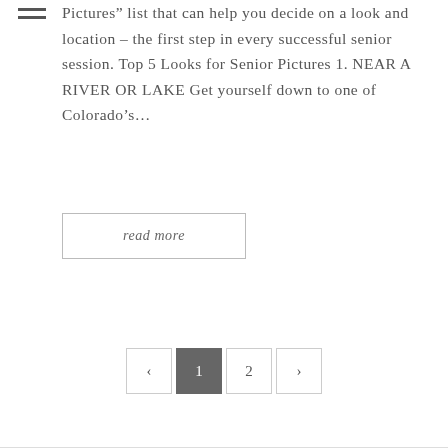Pictures” list that can help you decide on a look and location – the first step in every successful senior session. Top 5 Looks for Senior Pictures 1. NEAR A RIVER OR LAKE Get yourself down to one of Colorado’s…
read more
‹ 1 2 ›